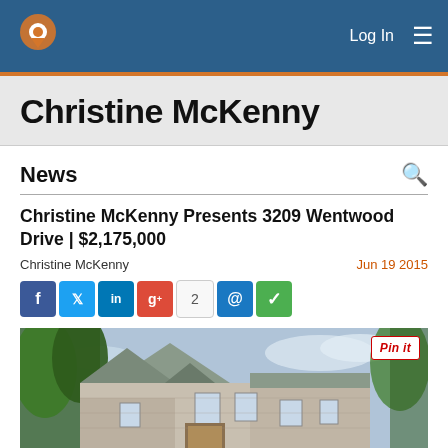[Figure (screenshot): Navigation bar with logo pin icon, Login text, and hamburger menu on blue background]
Christine McKenny
News
Christine McKenny Presents 3209 Wentwood Drive | $2,175,000
Christine McKenny   Jun 19 2015
[Figure (infographic): Social share buttons: Facebook, Twitter, LinkedIn, Google+, count badge showing 2, email (@), and checkmark]
[Figure (photo): Exterior photo of luxury stone home at 3209 Wentwood Drive with trees and slate roof, Pin it button overlay]